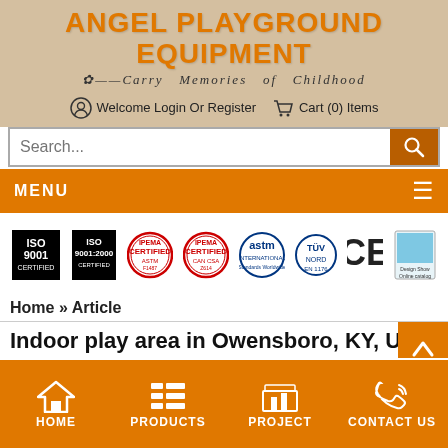ANGEL PLAYGROUND EQUIPMENT
--Carry Memories of Childhood
Welcome Login Or Register   Cart (0) Items
Search...
MENU
[Figure (logo): Row of certification logos: ISO 9001 Certified, ISO 9001:2000 Certified, IPEMA Certified ASTM F1487, IPEMA Certified CAN CSA-Z614, ASTM International, TÜV, CE mark, and Design Show Online Catalog booklet]
Home » Article
Indoor play area in Owensboro, KY, USA
HOME   PRODUCTS   PROJECT   CONTACT US